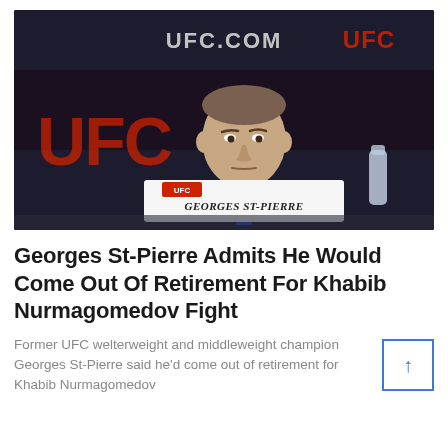[Figure (photo): Georges St-Pierre seated at a UFC press conference table with a nameplate reading 'GEORGES ST-PIERRE', wearing a grey suit and blue tie, in front of a dark UFC backdrop.]
Georges St-Pierre Admits He Would Come Out Of Retirement For Khabib Nurmagomedov Fight
Former UFC welterweight and middleweight champion Georges St-Pierre said he'd come out of retirement for Khabib Nurmagomedov